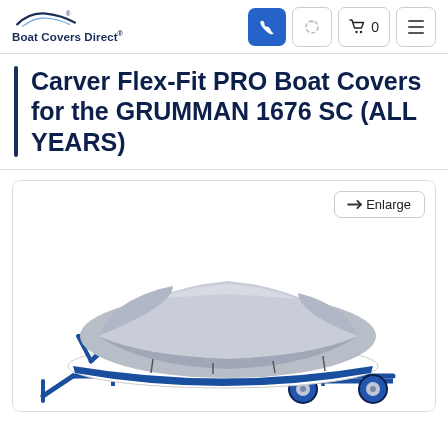Boat Covers Direct®
Carver Flex-Fit PRO Boat Covers for the GRUMMAN 1676 SC (ALL YEARS)
[Figure (photo): A gray boat cover fitted over a boat on a blue trailer, shown against a white background. Enlarge button visible in top right of image panel.]